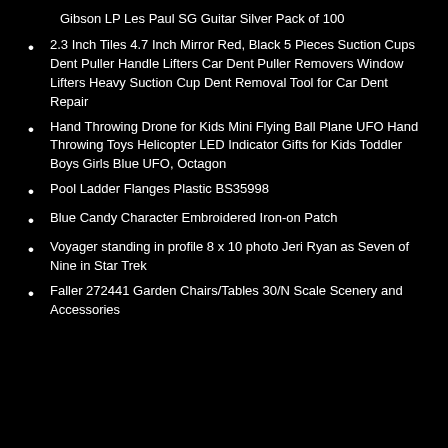Gibson LP Les Paul SG Guitar Silver Pack of 100
2.3 Inch Tiles 4.7 Inch Mirror Red, Black 5 Pieces Suction Cups Dent Puller Handle Lifters Car Dent Puller Removers Window Lifters Heavy Suction Cup Dent Removal Tool for Car Dent Repair
Hand Throwing Drone for Kids Mini Flying Ball Plane UFO Hand Throwing Toys Helicopter LED Indicator Gifts for Kids Toddler Boys Girls Blue UFO, Octagon
Pool Ladder Flanges Plastic BS35998
Blue Candy Character Embroidered Iron-on Patch
Voyager standing in profile 8 x 10 photo Jeri Ryan as Seven of Nine in Star Trek
Faller 272441 Garden Chairs/Tables 30/N Scale Scenery and Accessories